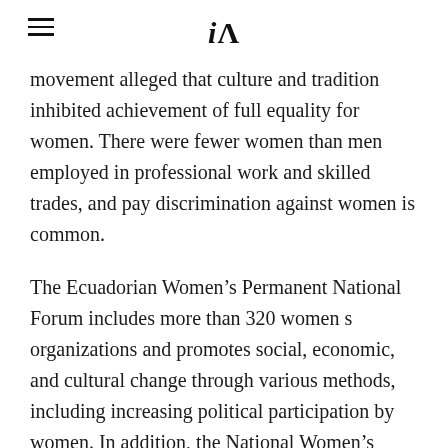iA
movement alleged that culture and tradition inhibited achievement of full equality for women. There were fewer women than men employed in professional work and skilled trades, and pay discrimination against women is common.
The Ecuadorian Women's Permanent National Forum includes more than 320 women s organizations and promotes social, economic, and cultural change through various methods, including increasing political participation by women. In addition, the National Women's Council provides support for approximately 500 women's organizations, many of